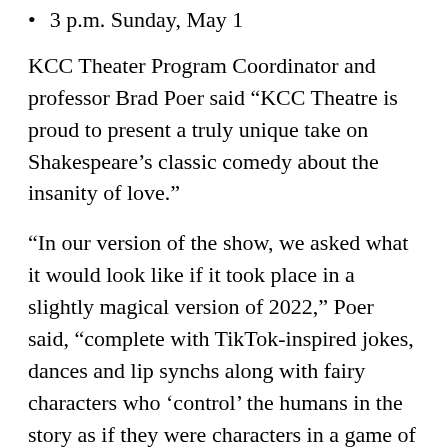3 p.m. Sunday, May 1
KCC Theater Program Coordinator and professor Brad Poer said “KCC Theatre is proud to present a truly unique take on Shakespeare’s classic comedy about the insanity of love.”
“In our version of the show, we asked what it would look like if it took place in a slightly magical version of 2022,” Poer said, “complete with TikTok-inspired jokes, dances and lip synchs along with fairy characters who ‘control’ the humans in the story as if they were characters in a game of Dungeons & Dragons.”
Poer called the dual in-person/virtual experience “simultaneously old-school and new-school.” In-person seating will be placed onstage just in front of